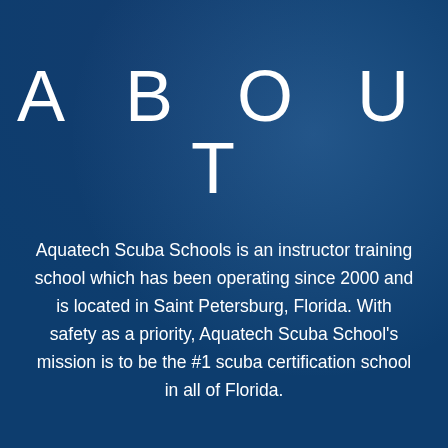ABOUT
Aquatech Scuba Schools is an instructor training school which has been operating since 2000 and is located in Saint Petersburg, Florida. With safety as a priority, Aquatech Scuba School's mission is to be the #1 scuba certification school in all of Florida.